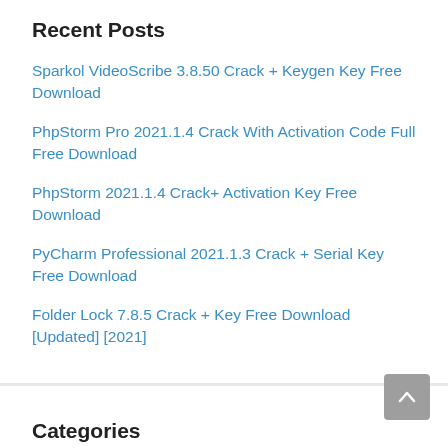Recent Posts
Sparkol VideoScribe 3.8.50 Crack + Keygen Key Free Download
PhpStorm Pro 2021.1.4 Crack With Activation Code Full Free Download
PhpStorm 2021.1.4 Crack+ Activation Key Free Download
PyCharm Professional 2021.1.3 Crack + Serial Key Free Download
Folder Lock 7.8.5 Crack + Key Free Download [Updated] [2021]
Categories